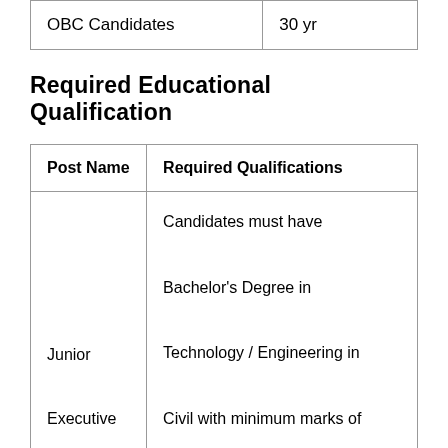|  |  |
| --- | --- |
| OBC Candidates | 30 yr |
Required Educational Qualification
| Post Name | Required Qualifications |
| --- | --- |
| Junior Executive (Civil) | Candidates must have Bachelor's Degree in Technology / Engineering in Civil with minimum marks of 60% and having qualifying GATE Normalized marks on GATE Scorecard for the year |